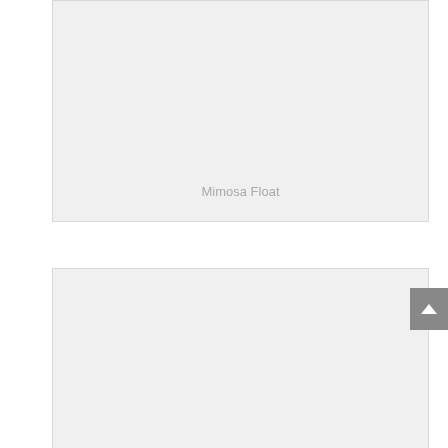[Figure (photo): Large light gray placeholder image box with label 'Mimosa Float' near the bottom center]
Mimosa Float
[Figure (photo): Large light gray placeholder image box without visible label, positioned below the first image]